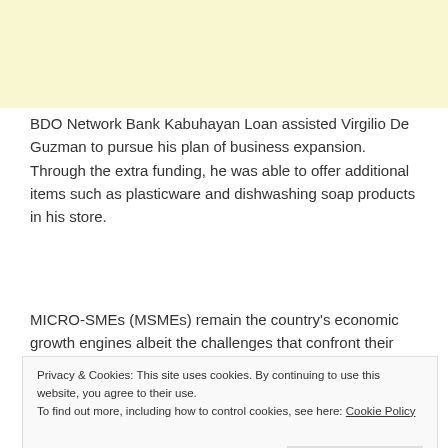[Figure (other): Yellow banner image at top of page]
BDO Network Bank Kabuhayan Loan assisted Virgilio De Guzman to pursue his plan of business expansion. Through the extra funding, he was able to offer additional items such as plasticware and dishwashing soap products in his store.
MICRO-SMEs (MSMEs) remain the country's economic growth engines albeit the challenges that confront their businesses due to the pandemic. For this reason, BDO
Privacy & Cookies: This site uses cookies. By continuing to use this website, you agree to their use.
To find out more, including how to control cookies, see here: Cookie Policy
"The country's development depends on the growth of